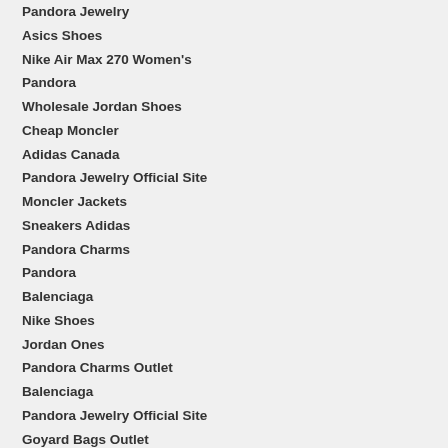Ferragamo Belt
Pandora Jewelry
Asics Shoes
Nike Air Max 270 Women's
Pandora
Wholesale Jordan Shoes
Cheap Moncler
Adidas Canada
Pandora Jewelry Official Site
Moncler Jackets
Sneakers Adidas
Pandora Charms
Pandora
Balenciaga
Nike Shoes
Jordan Ones
Pandora Charms Outlet
Balenciaga
Pandora Jewelry Official Site
Goyard Bags Outlet
Pandora Jewellery
Adidas
Adidas Sale